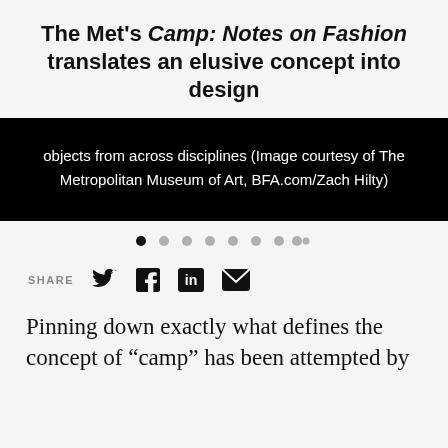The Met's Camp: Notes on Fashion translates an elusive concept into design
objects from across disciplines (Image courtesy of The Metropolitan Museum of Art, BFA.com/Zach Hilty)
Pinning down exactly what defines the concept of “camp” has been attempted by